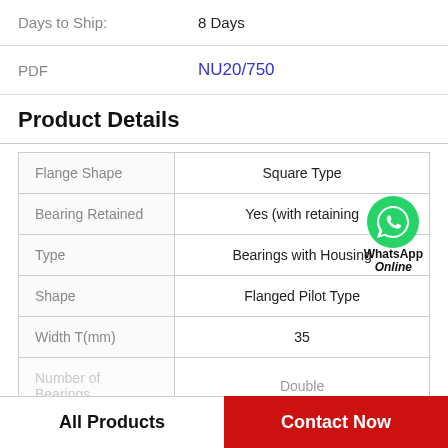Days to Ship: 8 Days
PDF NU20/750
Product Details
| Flange Shape | Square Type |
| Bearing Retained | Yes (with retaining |
| Type | Bearings with Housing |
| Shape | Flanged Pilot Type |
| Width T(mm) | 35 |
| Number of Bearings | Double |
All Products
Contact Now